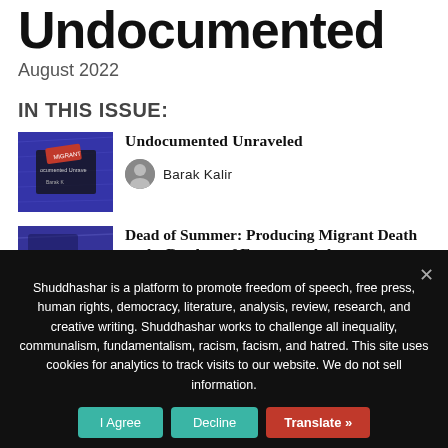Undocumented
August 2022
IN THIS ISSUE:
[Figure (photo): Book cover thumbnail for 'Undocumented Unraveled' by Barak Kalir — dark blue/purple textured background with text overlay]
Undocumented Unraveled
Barak Kalir
[Figure (photo): Thumbnail image with blue/purple tones for second article]
Dead of Summer: Producing Migrant Death at the Borders of Europe and the
Shuddhashar is a platform to promote freedom of speech, free press, human rights, democracy, literature, analysis, review, research, and creative writing. Shuddhashar works to challenge all inequality, communalism, fundamentalism, racism, facism, and hatred. This site uses cookies for analytics to track visits to our website. We do not sell information.